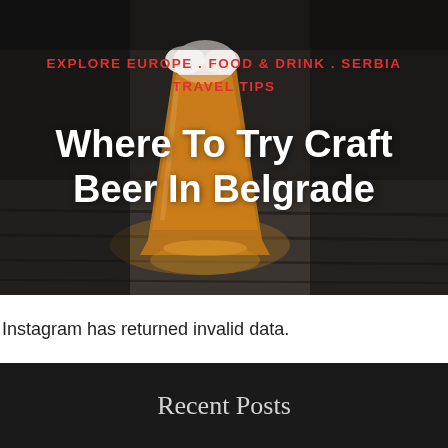[Figure (photo): A close-up photo of a pint glass filled with amber craft beer, placed on a wooden surface, with dark moody background lighting. Text overlays include category tags and article title.]
EXPLORE EUROPE . FOOD & DRINK . SERBIA
TRAVEL TIPS
Where To Try Craft Beer In Belgrade
Instagram has returned invalid data.
Recent Posts